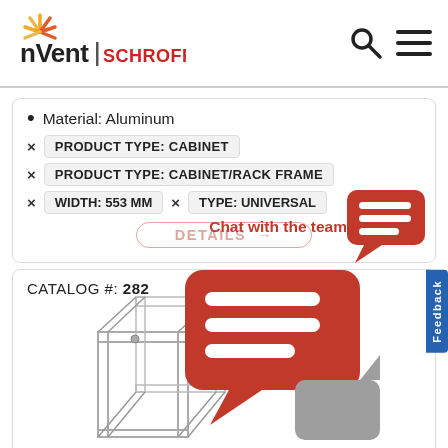[Figure (logo): nVent SCHROFF logo with sunburst icon, company name in dark and red letters]
Material: Aluminum
× PRODUCT TYPE: CABINET
× PRODUCT TYPE: CABINET/RACK FRAME
× WIDTH: 553 MM    × TYPE: UNIVERSAL
DETAILS →
Chat with the team
Feedback
CATALOG #: 282...
[Figure (illustration): Red speech bubble with three white lines (chat icon) and gray reply bubble, overlaid on product listing]
[Figure (illustration): 3D wireframe illustration of an open rack cabinet/frame enclosure]